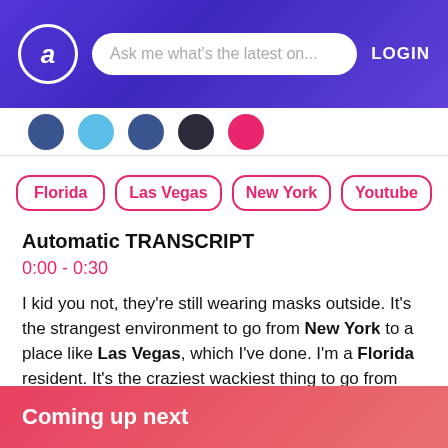Ask me what's the latest on...  LOGIN
[Figure (screenshot): Five circular avatar/topic icons in a row]
Florida
Las Vegas
New York
Youtube
Automatic TRANSCRIPT
0:00 - 0:30
I kid you not, they're still wearing masks outside. It's the strangest environment to go from New York to a place like Las Vegas, which I've done. I'm a Florida resident. It's the craziest wackiest thing to go from Florida to New York. Florida? Occasionally people have a mask on? We should respect that. We don't know what their story is.
Show More
Coming up next